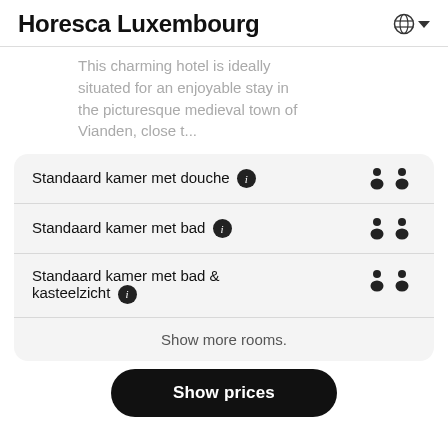Horesca Luxembourg
This charming hotel is ideally situated for an enjoyable stay in the picturesque medieval town of Vianden, close t...
Standaard kamer met douche ℹ  👥👥
Standaard kamer met bad ℹ  👥👥
Standaard kamer met bad & kasteelzicht ℹ  👥👥
Show more rooms.
Show prices